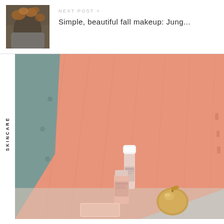[Figure (photo): Thumbnail photo of a person with autumn leaves covering their face, wearing a grey sweater, outdoor fall scene]
NEXT POST >
Simple, beautiful fall makeup: Jung...
SKINCARE
[Figure (photo): Skincare product photo showing small bottles and a gold decorative object on a peach/salmon colored textured blanket draped over a teal blue tufted chair]